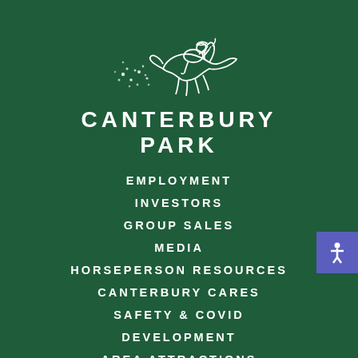[Figure (logo): Canterbury Park horse racing logo - white line drawing of jockey on galloping horse with stars/dots trail]
CANTERBURY PARK
EMPLOYMENT
INVESTORS
GROUP SALES
MEDIA
HORSEPERSON RESOURCES
CANTERBURY CARES
SAFETY & COVID
DEVELOPMENT
AREA ATTRACTIONS
BLOG